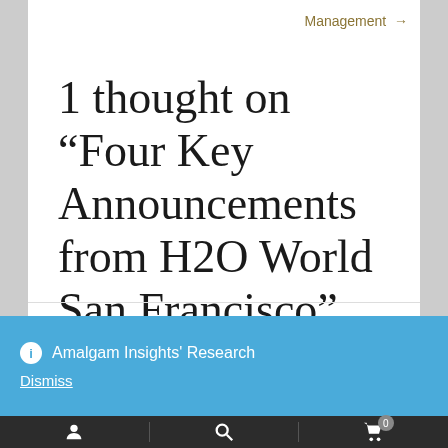Management →
1 thought on “Four Key Announcements from H2O World San Francisco”
ℹ Amalgam Insights' Research
Dismiss